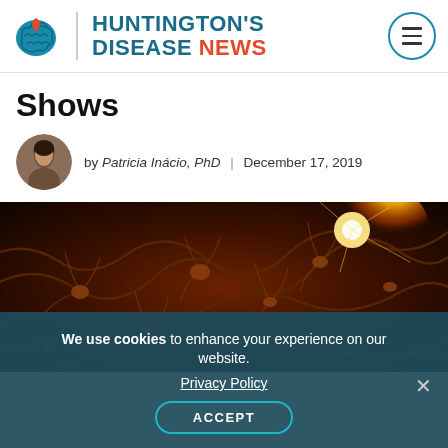HUNTINGTON'S DISEASE NEWS
Shows
by Patricia Inácio, PhD | December 17, 2019
[Figure (illustration): Artistic illustration of neural dendrites and synapses in warm orange/red tones with a bright light source in the upper right corner, representing neurological activity or disease.]
We use cookies to enhance your experience on our website. Privacy Policy ACCEPT